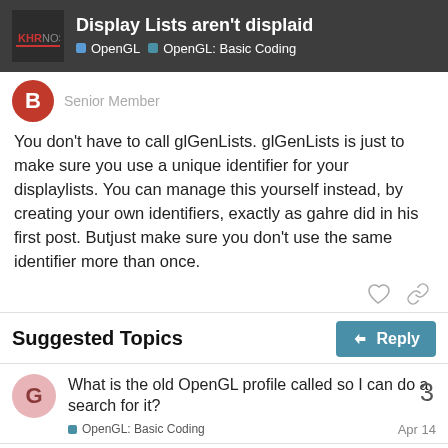Display Lists aren't displaid | OpenGL | OpenGL: Basic Coding
Senior Member
You don't have to call glGenLists. glGenLists is just to make sure you use a unique identifier for your displaylists. You can manage this yourself instead, by creating your own identifiers, exactly as gahre did in his first post. Butjust make sure you don't use the same identifier more than once.
Suggested Topics
What is the old OpenGL profile called so I can do a search for it?
OpenGL: Basic Coding  Apr 14
Concise, shader friendly form normal vector transformation